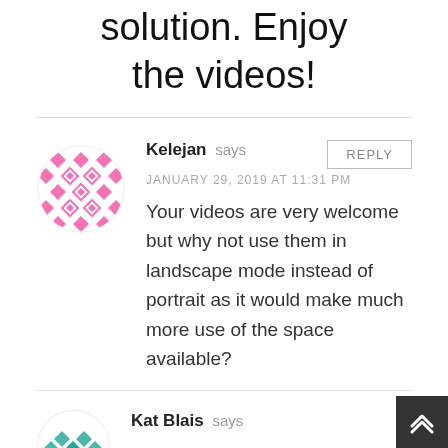solution. Enjoy the videos!
Kelejan says
JANUARY 29, 2019 AT 11:31 PM
Your videos are very welcome but why not use them in landscape mode instead of portrait as it would make much more use of the space available?
Kat Blais says